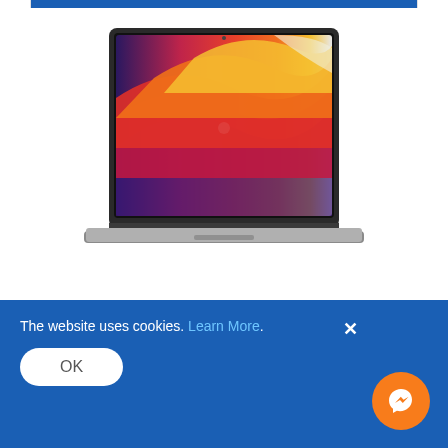[Figure (photo): MacBook Air laptop with colorful MacOS Big Sur wallpaper (red, orange, yellow waves on gradient background), viewed from slightly above showing open display and keyboard.]
€1,249.00 €1,169.00
or from €42.54 monthly*
[Figure (logo): Lava loyalty program logo - orange flame/bird icon followed by 'lava' wordmark in purple/dark color]
earn 2,338 points
The website uses cookies. Learn More.
OK